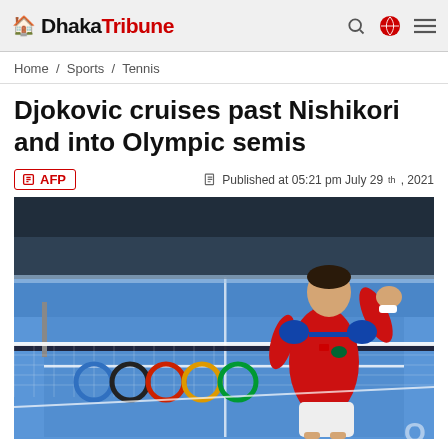Dhaka Tribune
Home / Sports / Tennis
Djokovic cruises past Nishikori and into Olympic semis
AFP  Published at 05:21 pm July 29th, 2021
[Figure (photo): Novak Djokovic in a red Lacoste shirt celebrating with a fist pump in front of a tennis net with Olympic rings, at the Tokyo 2021 Olympics tennis court]